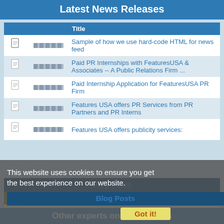Latest News Releases
|  |  | Title |
| --- | --- | --- |
| [icon] | [img] | Sample of how we use hard-code HTML for news feed |
| [icon] | [img] | Paid PR Internships with FeaturesUSA & Associates -- A Public Relations Firm ... |
| [icon] | [img] | Paid Internship Application for FeaturesUSA PR Firm |
| [icon] | [img] | Features USA offers PR Services from PR Partners and PR Interns |
| [icon] | [img] | Features USA offers publicity services: |
This website uses cookies to ensure you get the best experience on our website.
Blog Posts
|  |  | Title |
| --- | --- | --- |
| [icon] | [img] | Public Relations Services offered by Features USA and our partners:pic.twitte... |
Other experts on these topics